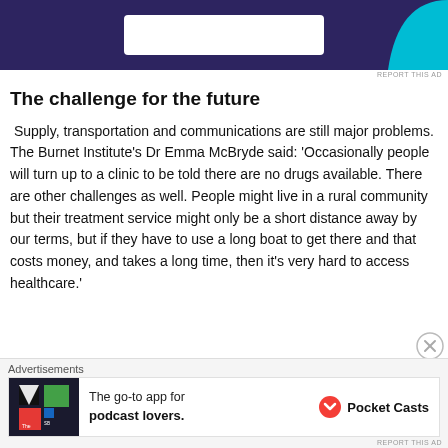[Figure (other): Top advertisement banner with dark purple/navy background, white input box in center, and cyan curved shape on the right]
The challenge for the future
Supply, transportation and communications are still major problems. The Burnet Institute’s Dr Emma McBryde said: ‘Occasionally people will turn up to a clinic to be told there are no drugs available. There are other challenges as well. People might live in a rural community but their treatment service might only be a short distance away by our terms, but if they have to use a long boat to get there and that costs money, and takes a long time, then it’s very hard to access healthcare.’
[Figure (other): Bottom advertisement banner for Pocket Casts app: 'The go-to app for podcast lovers.' with Pocket Casts logo]